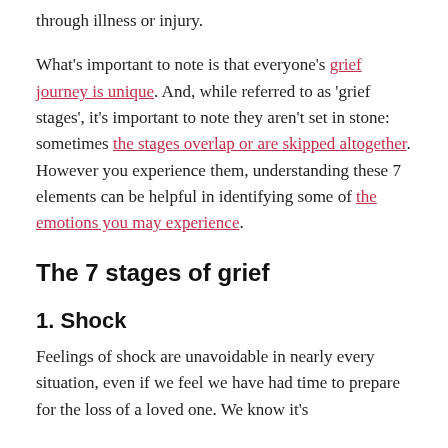through illness or injury.
What's important to note is that everyone's grief journey is unique. And, while referred to as 'grief stages', it's important to note they aren't set in stone: sometimes the stages overlap or are skipped altogether. However you experience them, understanding these 7 elements can be helpful in identifying some of the emotions you may experience.
The 7 stages of grief
1. Shock
Feelings of shock are unavoidable in nearly every situation, even if we feel we have had time to prepare for the loss of a loved one. We know it's